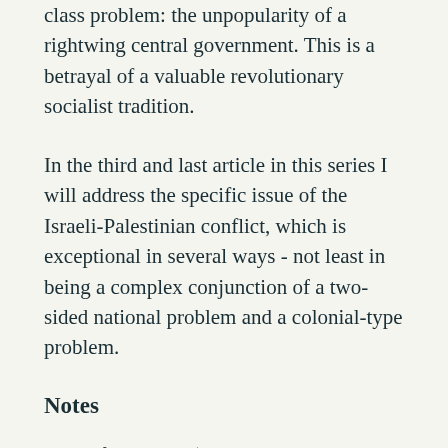class problem: the unpopularity of a rightwing central government. This is a betrayal of a valuable revolutionary socialist tradition.
In the third and last article in this series I will address the specific issue of the Israeli-Palestinian conflict, which is exceptional in several ways - not least in being a complex conjunction of a two-sided national problem and a colonial-type problem.
Notes
1. The first article ('Colonialism and the natives' Weekly Worker December 17 2015) outlined some of the debates on colonialism and the national